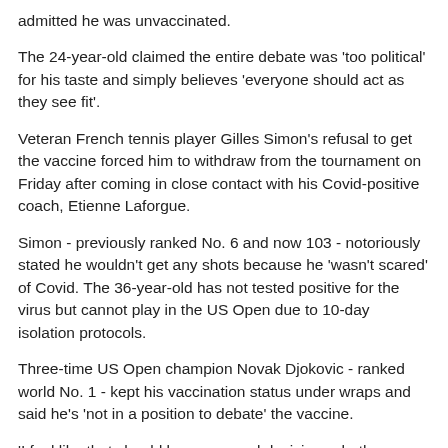admitted he was unvaccinated.
The 24-year-old claimed the entire debate was 'too political' for his taste and simply believes 'everyone should act as they see fit'.
Veteran French tennis player Gilles Simon's refusal to get the vaccine forced him to withdraw from the tournament on Friday after coming in close contact with his Covid-positive coach, Etienne Laforgue.
Simon - previously ranked No. 6 and now 103 - notoriously stated he wouldn't get any shots because he 'wasn't scared' of Covid. The 36-year-old has not tested positive for the virus but cannot play in the US Open due to 10-day isolation protocols.
Three-time US Open champion Novak Djokovic - ranked world No. 1 - kept his vaccination status under wraps and said he's 'not in a position to debate' the vaccine.
'I feel like that should be a personal decision, whether you want to get vaccinated or not. So I am supportive of that,' he